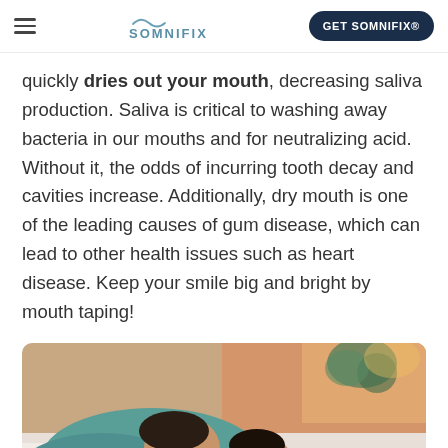SOMNIFIX | GET SOMNIFIX®
quickly dries out your mouth, decreasing saliva production. Saliva is critical to washing away bacteria in our mouths and for neutralizing acid. Without it, the odds of incurring tooth decay and cavities increase. Additionally, dry mouth is one of the leading causes of gum disease, which can lead to other health issues such as heart disease. Keep your smile big and bright by mouth taping!
[Figure (photo): A couple sleeping in bed, man in teal shirt in foreground, woman behind him, warm bedroom setting with plant and lamp in background]